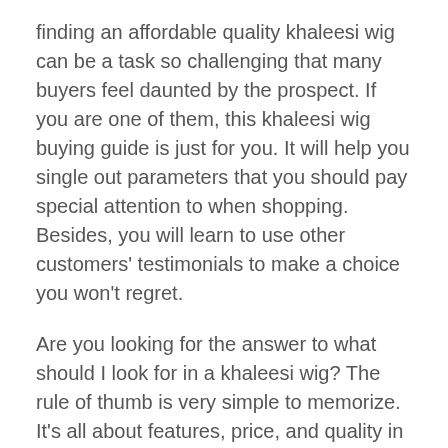finding an affordable quality khaleesi wig can be a task so challenging that many buyers feel daunted by the prospect. If you are one of them, this khaleesi wig buying guide is just for you. It will help you single out parameters that you should pay special attention to when shopping. Besides, you will learn to use other customers' testimonials to make a choice you won't regret.
Are you looking for the answer to what should I look for in a khaleesi wig? The rule of thumb is very simple to memorize. It's all about features, price, and quality in the end. This may sound somewhat vague, however, so we've made up a list of essential steps to take when shopping.
Identify the Benefits You Expect to Obtain
It's never a bad idea to determine your expectations before you even begin looking for something. How are